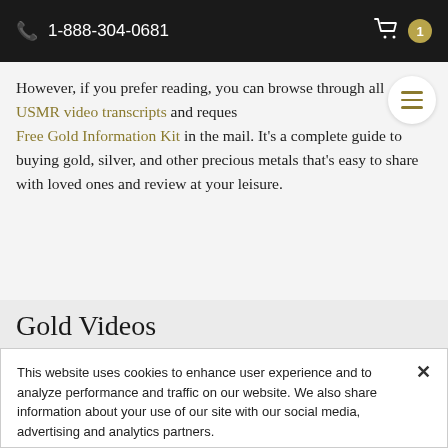1-888-304-0681
However, if you prefer reading, you can browse through all USMR video transcripts and request a Free Gold Information Kit in the mail. It's a complete guide to buying gold, silver, and other precious metals that's easy to share with loved ones and review at your leisure.
Gold Videos
This website uses cookies to enhance user experience and to analyze performance and traffic on our website. We also share information about your use of our site with our social media, advertising and analytics partners.
Cookie Settings | Accept and Continue